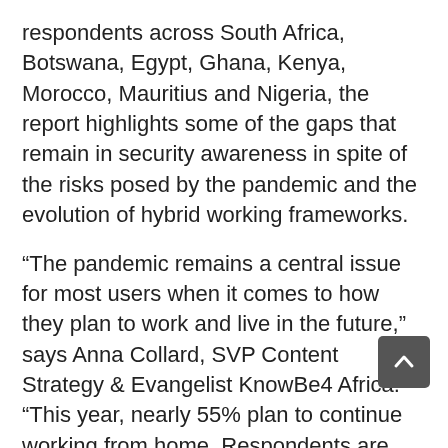respondents across South Africa, Botswana, Egypt, Ghana, Kenya, Morocco, Mauritius and Nigeria, the report highlights some of the gaps that remain in security awareness in spite of the risks posed by the pandemic and the evolution of hybrid working frameworks.
“The pandemic remains a central issue for most users when it comes to how they plan to work and live in the future,” says Anna Collard, SVP Content Strategy & Evangelist KnowBe4 Africa. “This year, nearly 55% plan to continue working from home. Respondents are increasingly concerned about the risk of cybercrime at 72%, however, the trend this year has been an increase in overall security confidence, which is not necessarily earned. People think they know more than they do and this is causing issues.”
The indications that...